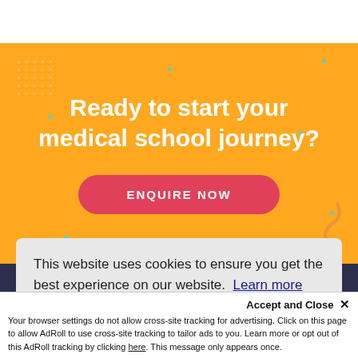Ready to start your medical school journey?
ENQUIRE NOW
This website uses cookies to ensure you get the best experience on our website. Learn more
Got it!
Accept and Close ✕
Your browser settings do not allow cross-site tracking for advertising. Click on this page to allow AdRoll to use cross-site tracking to tailor ads to you. Learn more or opt out of this AdRoll tracking by clicking here. This message only appears once.